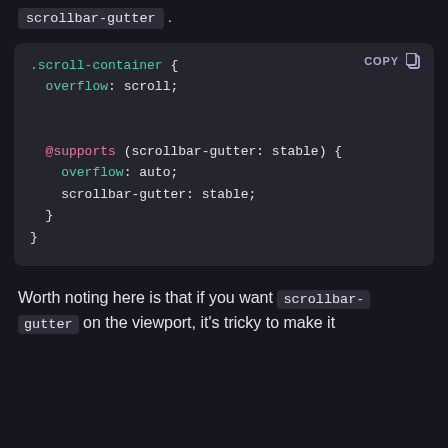scrollbar-gutter .
[Figure (screenshot): Dark-themed code block showing CSS code with .scroll-container selector, overflow: scroll, @supports (scrollbar-gutter: stable) block containing overflow: auto and scrollbar-gutter: stable, with a COPY button in top right]
Worth noting here is that if you want scrollbar-gutter on the viewport, it's tricky to make it